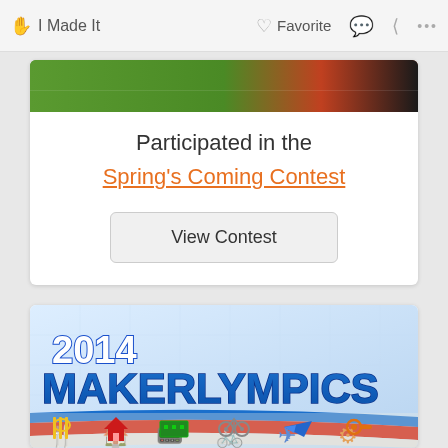I Made It   Favorite
[Figure (screenshot): Partial image of a green outdoor/garden scene with red and dark elements at top]
Participated in the
Spring's Coming Contest
View Contest
[Figure (illustration): 2014 Makerlympics banner with bold blue text on light blue background with colored swoosh stripes and icons for food, home, electronics, cycling, paper airplane, and tools]